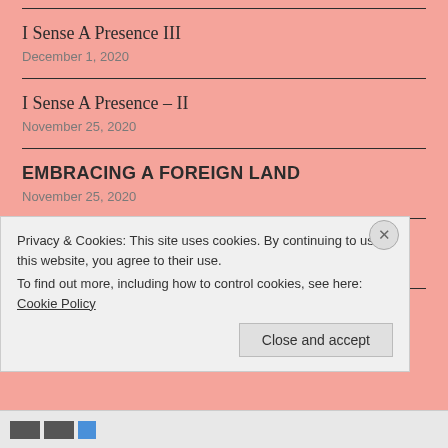I Sense A Presence III
December 1, 2020
I Sense A Presence – II
November 25, 2020
EMBRACING A FOREIGN LAND
November 25, 2020
I Sense A Presence
November 22, 2020
Privacy & Cookies: This site uses cookies. By continuing to use this website, you agree to their use.
To find out more, including how to control cookies, see here: Cookie Policy
Close and accept